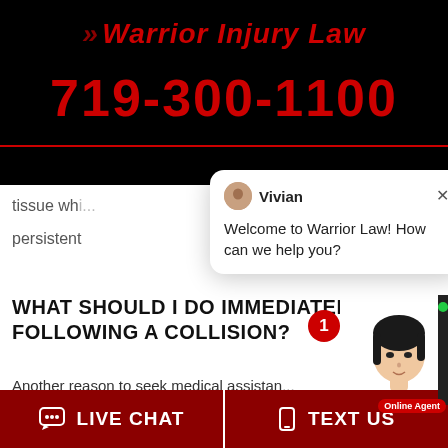[Figure (logo): Warrior Injury Law logo with chevrons on black background]
719-300-1100
[Figure (screenshot): Chat popup from Vivian: 'Welcome to Warrior Law! How can we help you?']
tissue wi...
persistent...
WHAT SHOULD I DO IMMEDIATELY FOLLOWING A COLLISION?
Another reason to seek medical assistan...
[Figure (photo): Asian woman agent photo with Online Agent badge and green dot]
LIVE CHAT
TEXT US